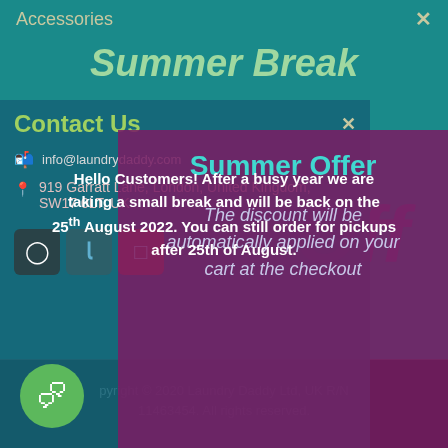Accessories
Summer Break
Contact Us
Hello Customers! After a busy year we are taking a small break and will be back on the 25th August 2022. You can still order for pickups after 25th of August.
info@laundrydaddy.com
919 Garratt Lane, London, United Kingdom, SW17 0LT, UK
Summer Offer
The discount will be automatically applied on your cart at the checkout
Copyright © 2020 Laundry Daddy Ltd, UK R/N 11463454. All rights reserved.